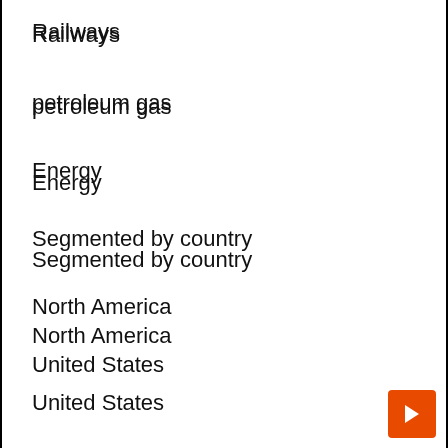Railways
petroleum gas
Energy
Segmented by country
North America
United States
Canada
Mexico
Europe